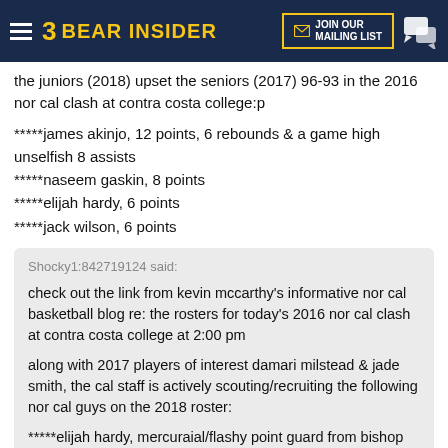BEAR INSIDER
the juniors (2018) upset the seniors (2017) 96-93 in the 2016 nor cal clash at contra costa college:p
*****james akinjo, 12 points, 6 rebounds & a game high unselfish 8 assists
*****naseem gaskin, 8 points
*****elijah hardy, 6 points
*****jack wilson, 6 points
Shocky1:842719124 said: check out the link from kevin mccarthy's informative nor cal basketball blog re: the rosters for today's 2016 nor cal clash at contra costa college at 2:00 pm

along with 2017 players of interest damari milstead & jade smith, the cal staff is actively scouting/recruiting the following nor cal guys on the 2018 roster:

*****elijah hardy, mercuraial/flashy point guard from bishop o'dowd
*****naseem gaskin, fast rising 6'3" lou richie coached up athlete from bishop o'dowd